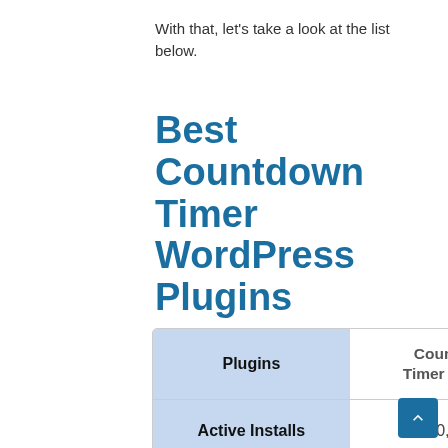With that, let's take a look at the list below.
Best Countdown Timer WordPress Plugins
| Plugins | Countdown Timer Ultimate |
| --- | --- |
| Active Installs | 20,000+ |
| Ratings | ★★★★☆ |
| Downloads |  |